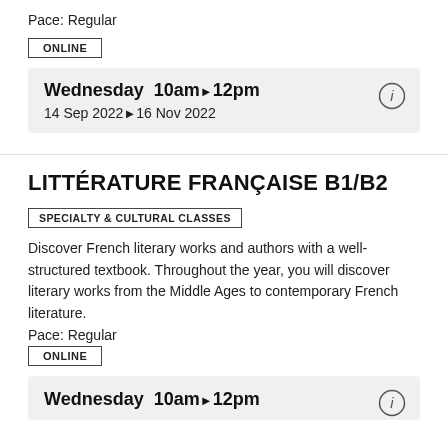Pace: Regular
ONLINE
Wednesday  10am▶12pm
14 Sep 2022▶16 Nov 2022
LITTÉRATURE FRANÇAISE B1/B2
SPECIALTY & CULTURAL CLASSES
Discover French literary works and authors with a well-structured textbook. Throughout the year, you will discover literary works from the Middle Ages to contemporary French literature.
Pace: Regular
ONLINE
Wednesday  10am▶12pm